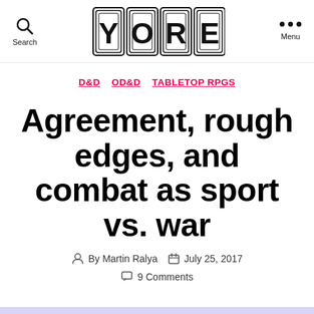YORE — Search — Menu
D&D  OD&D  TABLETOP RPGS
Agreement, rough edges, and combat as sport vs. war
By Martin Ralya  July 25, 2017  9 Comments